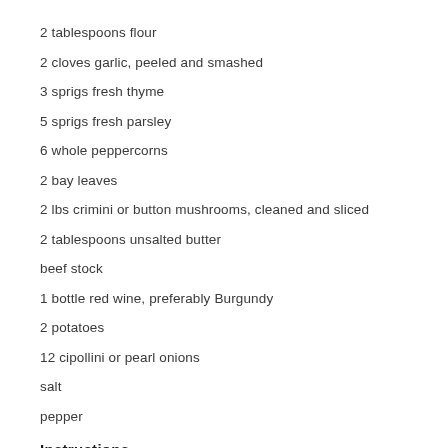2 tablespoons flour
2 cloves garlic, peeled and smashed
3 sprigs fresh thyme
5 sprigs fresh parsley
6 whole peppercorns
2 bay leaves
2 lbs crimini or button mushrooms, cleaned and sliced
2 tablespoons unsalted butter
beef stock
1 bottle red wine, preferably Burgundy
2 potatoes
12 cipollini or pearl onions
salt
pepper
Instructions
Salt and pepper the beef.